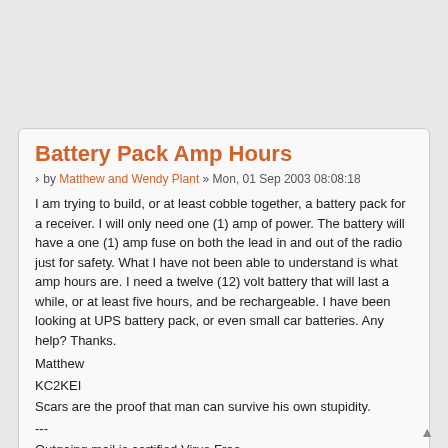Battery Pack Amp Hours
by Matthew and Wendy Plant » Mon, 01 Sep 2003 08:08:18
I am trying to build, or at least cobble together, a battery pack for a receiver. I will only need one (1) amp of power. The battery will have a one (1) amp fuse on both the lead in and out of the radio just for safety. What I have not been able to understand is what amp hours are. I need a twelve (12) volt battery that will last a while, or at least five hours, and be rechargeable. I have been looking at UPS battery pack, or even small car batteries. Any help? Thanks.
Matthew
KC2KEI
Scars are the proof that man can survive his own stupidity.
---
Outgoing mail is certified Virus Free.
Checked by AVG anti-virus system (http://www.grisoft.com).
Version: 6.0.514 / Virus Database: 312 - Release Date: 8/28/2003